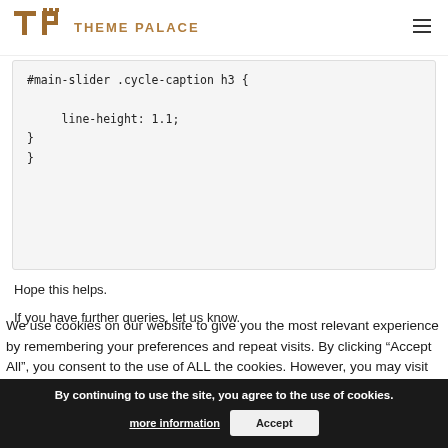THEME PALACE
Hope this helps.
If you have further queries, let us know.
We use cookies on our website to give you the most relevant experience by remembering your preferences and repeat visits. By clicking “Accept All”, you consent to the use of ALL the cookies. However, you may visit "Cookie Settings" to provide a controlled consent
By continuing to use the site, you agree to the use of cookies.
more information
Accept